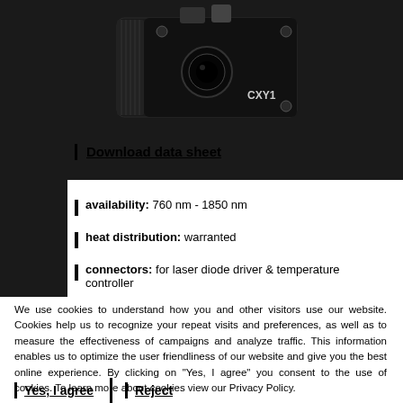[Figure (photo): Black laser module/camera device labeled CXY1, shown from a three-quarter angle against a dark background]
Download data sheet
availability: 760 nm - 1850 nm
heat distribution: warranted
connectors: for laser diode driver & temperature controller
We use cookies to understand how you and other visitors use our website. Cookies help us to recognize your repeat visits and preferences, as well as to measure the effectiveness of campaigns and analyze traffic. This information enables us to optimize the user friendliness of our website and give you the best online experience. By clicking on "Yes, I agree" you consent to the use of cookies. To learn more about cookies view our Privacy Policy.
Yes, I agree
Reject